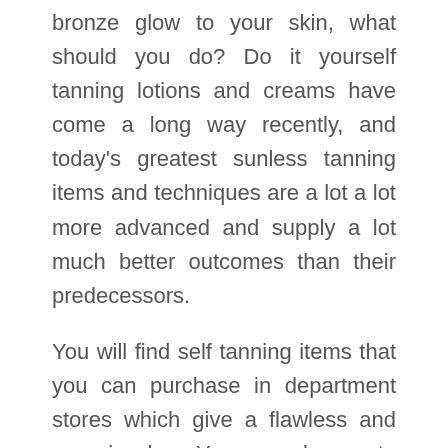bronze glow to your skin, what should you do? Do it yourself tanning lotions and creams have come a long way recently, and today's greatest sunless tanning items and techniques are a lot a lot more advanced and supply a lot much better outcomes than their predecessors.
You will find self tanning items that you can purchase in department stores which give a flawless and organic glow. You can also go to salons and spas that employ professionals to apply airbrush tanning formulas.
Regardless of whether the greatest tanning items are in self application form or need to be applied by a professional is totally as much as the individual searching to use them.